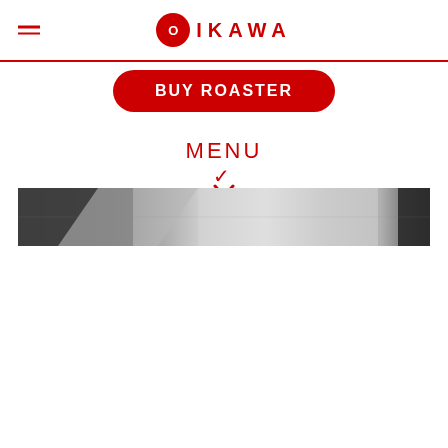OIKAWA
BUY ROASTER
MENU
[Figure (photo): Black and white photograph of what appears to be a coffee roaster interior or industrial space, shown as a wide banner strip.]